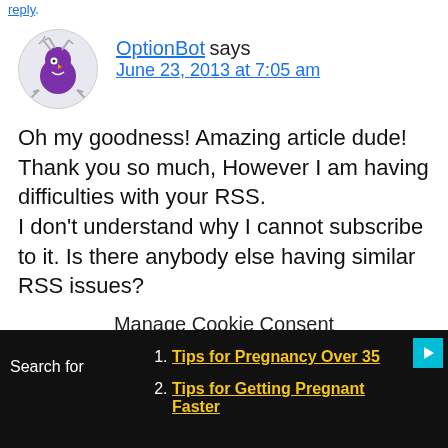reply.
OptionBot says
June 23, 2013 at 7:05 am
Oh my goodness! Amazing article dude! Thank you so much, However I am having difficulties with your RSS.
I don't understand why I cannot subscribe to it. Is there anybody else having similar RSS issues?
Manage Cookie Consent
We use cookies to optimize our website and our service.
Tips for Pregnancy Over 35
Tips for Getting Pregnant Faster
Search for